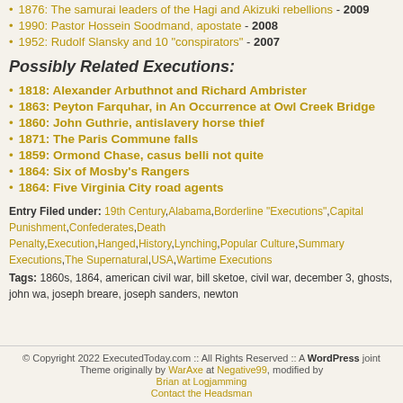1876: The samurai leaders of the Hagi and Akizuki rebellions - 2009
1990: Pastor Hossein Soodmand, apostate - 2008
1952: Rudolf Slansky and 10 "conspirators" - 2007
Possibly Related Executions:
1818: Alexander Arbuthnot and Richard Ambrister
1863: Peyton Farquhar, in An Occurrence at Owl Creek Bridge
1860: John Guthrie, antislavery horse thief
1871: The Paris Commune falls
1859: Ormond Chase, casus belli not quite
1864: Six of Mosby's Rangers
1864: Five Virginia City road agents
Entry Filed under: 19th Century,Alabama,Borderline "Executions",Capital Punishment,Confederates,Death Penalty,Execution,Hanged,History,Lynching,Popular Culture,Summary Executions,The Supernatural,USA,Wartime Executions
Tags: 1860s, 1864, american civil war, bill sketoe, civil war, december 3, ghosts, john wa, joseph breare, joseph sanders, newton
© Copyright 2022 ExecutedToday.com :: All Rights Reserved :: A WordPress joint
Theme originally by WarAxe at Negative99, modified by
Brian at Logjamming
Contact the Headsman